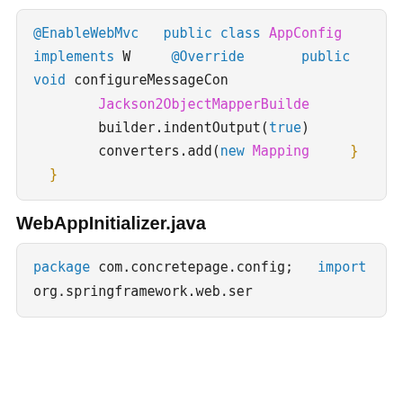[Figure (screenshot): Code block showing partial Java class with @EnableWebMvc annotation, public class AppConfig implements ..., @Override, public void configureMessageCon..., Jackson2ObjectMapperBuilde..., builder.indentOutput(true), converters.add(new Mapping...), closing braces]
WebAppInitializer.java
[Figure (screenshot): Code block showing package com.concretepage.config; and import org.springframework.web.ser...]